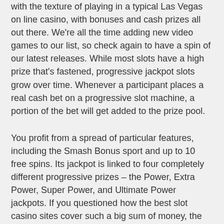with the texture of playing in a typical Las Vegas on line casino, with bonuses and cash prizes all out there. We're all the time adding new video games to our list, so check again to have a spin of our latest releases. While most slots have a high prize that's fastened, progressive jackpot slots grow over time. Whenever a participant places a real cash bet on a progressive slot machine, a portion of the bet will get added to the prize pool.
You profit from a spread of particular features, including the Smash Bonus sport and up to 10 free spins. Its jackpot is linked to four completely different progressive prizes – the Power, Extra Power, Super Power, and Ultimate Power jackpots. If you questioned how the best slot casino sites cover such a big sum of money, the reply is they don't.
This, with one single wager and no need to pick or follow any paylines. 1024 Ways to Win slots are easy to play and they follow most guidelines of a typical online slot machine, besides that there are no paylines. Win Both Ways slots present a extra engaging and exciting